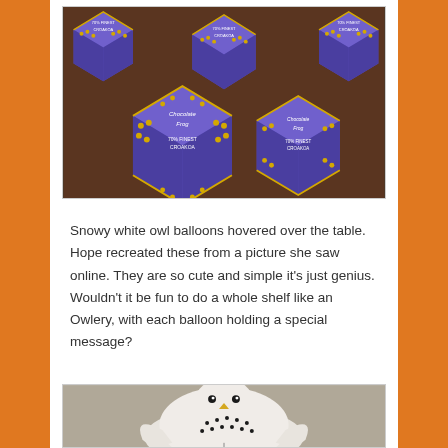[Figure (photo): Multiple purple and gold Chocolate Frog boxes (Harry Potter themed) arranged on a wooden table. The boxes are hexagonal/diamond-shaped with gold lace pattern borders and text reading '70% Finest Croakoa' and 'Chocolate Frog'.]
Snowy white owl balloons hovered over the table. Hope recreated these from a picture she saw online. They are so cute and simple it's just genius. Wouldn't it be fun to do a whole shelf like an Owlery, with each balloon holding a special message?
[Figure (photo): Partial view of a white owl balloon or decoration with black dot details on a grey background.]